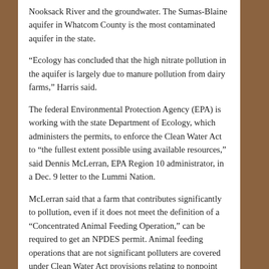Nooksack River and the groundwater. The Sumas-Blaine aquifer in Whatcom County is the most contaminated aquifer in the state.
“Ecology has concluded that the high nitrate pollution in the aquifer is largely due to manure pollution from dairy farms,” Harris said.
The federal Environmental Protection Agency (EPA) is working with the state Department of Ecology, which administers the permits, to enforce the Clean Water Act to “the fullest extent possible using available resources,” said Dennis McLerran, EPA Region 10 administrator, in a Dec. 9 letter to the Lummi Nation.
McLerran said that a farm that contributes significantly to pollution, even if it does not meet the definition of a “Concentrated Animal Feeding Operation,” can be required to get an NPDES permit. Animal feeding operations that are not significant polluters are covered under Clean Water Act provisions relating to nonpoint